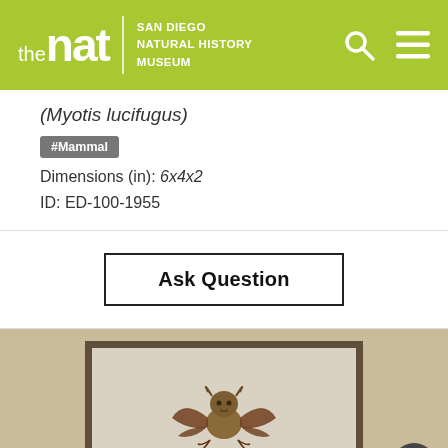the nat | SAN DIEGO NATURAL HISTORY MUSEUM
(Myotis lucifugus)
#Mammal
Dimensions (in): 6x4x2
ID: ED-100-1955
Ask Question
[Figure (photo): Photograph of a preserved bat specimen (Myotis lucifugus) displayed in a dark-bordered specimen box on a beige fabric background. The bat is shown from above, with its brown furry body and wing membranes spread flat.]